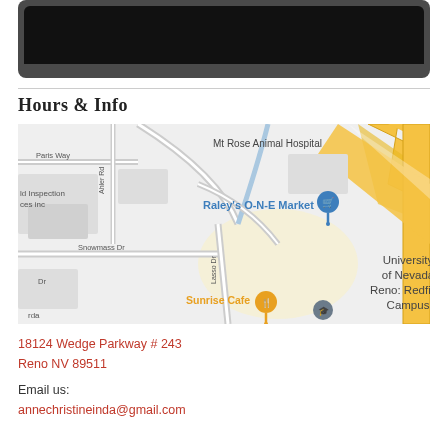[Figure (screenshot): Black bar at top representing a darkened/blacked-out image or video frame within a grey frame container]
Hours & Info
[Figure (map): Google Maps screenshot showing area near Mt Rose Animal Hospital and University of Nevada Reno: Redfield Campus. Shows Raley's O-N-E Market with blue shopping cart pin, Sunrise Cafe with orange fork/spoon pin, street labels including Snowmass Dr and Lasso Dr, and yellow highway roads on the right side.]
18124 Wedge Parkway # 243
Reno NV 89511
Email us:
annechristineinda@gmail.com